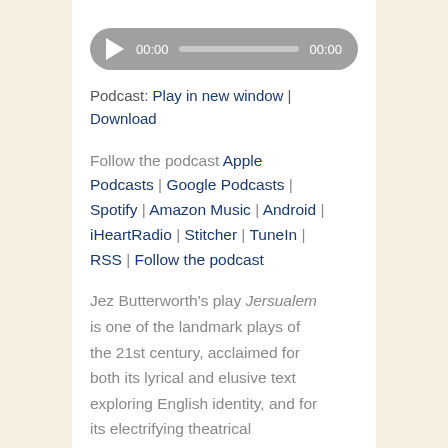[Figure (other): Audio player widget with play button, 00:00 start time, progress bar, and 00:00 end time on a gray rounded rectangle background]
Podcast: Play in new window | Download
Follow the podcast Apple Podcasts | Google Podcasts | Spotify | Amazon Music | Android | iHeartRadio | Stitcher | TuneIn | RSS | Follow the podcast
Jez Butterworth's play Jersualem is one of the landmark plays of the 21st century, acclaimed for both its lyrical and elusive text exploring English identity, and for its electrifying theatrical production. The once-in-a lifetime performance is happily being